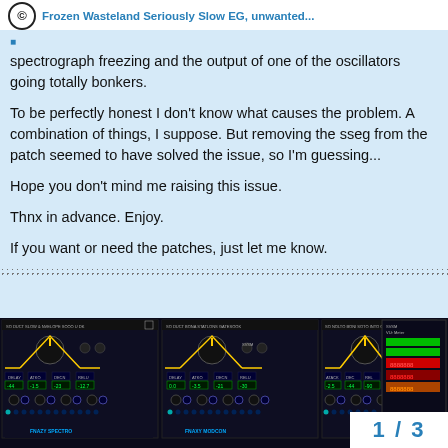Frozen Wasteland Seriously Slow EG, unwanted...
spectrograph freezing and the output of one of the oscillators going totally bonkers.
To be perfectly honest I don't know what causes the problem. A combination of things, I suppose. But removing the sseg from the patch seemed to have solved the issue, so I'm guessing...
Hope you don't mind me raising this issue.
Thnx in advance. Enjoy.
If you want or need the patches, just let me know.
[Figure (screenshot): Screenshot of a modular synthesizer plugin interface with multiple panels showing oscillators, knobs, LEDs, and a VU meter panel on the right side. Dark background with colorful controls.]
1 / 3